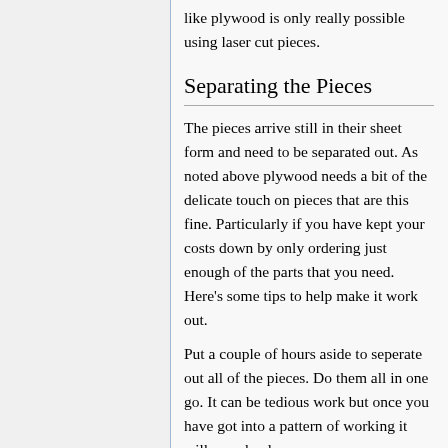like plywood is only really possible using laser cut pieces.
Separating the Pieces
The pieces arrive still in their sheet form and need to be separated out. As noted above plywood needs a bit of the delicate touch on pieces that are this fine. Particularly if you have kept your costs down by only ordering just enough of the parts that you need. Here's some tips to help make it work out.
Put a couple of hours aside to seperate out all of the pieces. Do them all in one go. It can be tedious work but once you have got into a pattern of working it will soon be done.
The laser often has not cut completely through the ply wood. This is for a variety